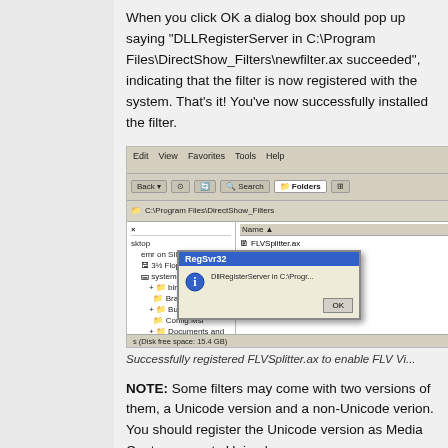When you click OK a dialog box should pop up saying "DLLRegisterServer in C:\Program Files\DirectShow_Filters\newfilter.ax succeeded", indicating that the filter is now registered with the system. That's it! You've now successfully installed the filter.
[Figure (screenshot): Windows Explorer window showing C:\Program Files\DirectShow_Filters directory with a RegSvr32 dialog box overlaid showing DllRegisterServer success message and FLVSplitter.ax file visible]
Successfully registered FLVSplitter.ax to enable FLV Vi...
NOTE: Some filters may come with two versions of them, a Unicode version and a non-Unicode verion. You should register the Unicode version as Media Center supports Unicode.